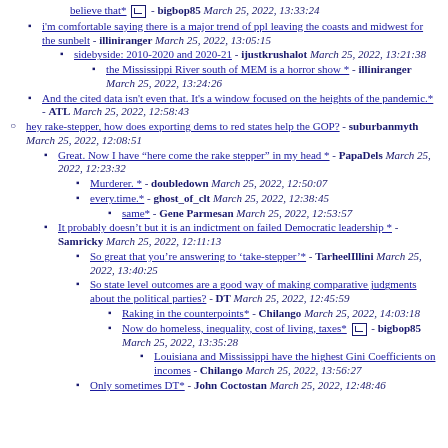believe that* - bigbop85 March 25, 2022, 13:33:24
i'm comfortable saying there is a major trend of ppl leaving the coasts and midwest for the sunbelt - illiniranger March 25, 2022, 13:05:15
sidebyside: 2010-2020 and 2020-21 - ijustkrushalot March 25, 2022, 13:21:38
the Mississippi River south of MEM is a horror show * - illiniranger March 25, 2022, 13:24:26
And the cited data isn't even that. It's a window focused on the heights of the pandemic.* - ATL March 25, 2022, 12:58:43
hey rake-stepper, how does exporting dems to red states help the GOP? - suburbanmyth March 25, 2022, 12:08:51
Great. Now I have "here come the rake stepper" in my head * - PapaDels March 25, 2022, 12:23:32
Murderer. * - doubledown March 25, 2022, 12:50:07
every.time.* - ghost_of_clt March 25, 2022, 12:38:45
same* - Gene Parmesan March 25, 2022, 12:53:57
It probably doesn't but it is an indictment on failed Democratic leadership * - Samricky March 25, 2022, 12:11:13
So great that you're answering to 'take-stepper'* - TarheelIllini March 25, 2022, 13:40:25
So state level outcomes are a good way of making comparative judgments about the political parties? - DT March 25, 2022, 12:45:59
Raking in the counterpoints* - Chilango March 25, 2022, 14:03:18
Now do homeless, inequality, cost of living, taxes* - bigbop85 March 25, 2022, 13:35:28
Louisiana and Mississippi have the highest Gini Coefficients on incomes - Chilango March 25, 2022, 13:56:27
Only sometimes DT* - John Coctostan March 25, 2022, 12:48:46